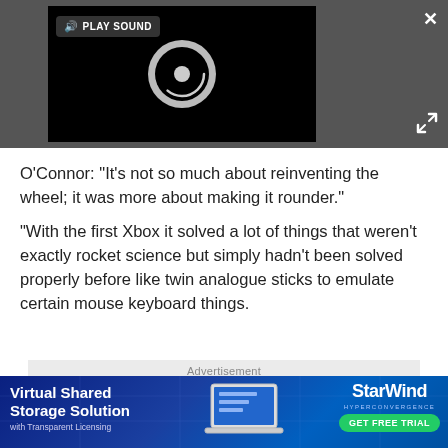[Figure (screenshot): Video player with dark grey background showing a black video area with a circular spinner/loading icon, a 'PLAY SOUND' button with speaker icon in the top-left of the video, a white X close button in the top-right of the page, and an expand arrows icon in the bottom-right of the player area.]
O'Connor: "It's not so much about reinventing the wheel; it was more about making it rounder."
"With the first Xbox it solved a lot of things that weren't exactly rocket science but simply hadn't been solved properly before like twin analogue sticks to emulate certain mouse keyboard things.
Advertisement
[Figure (other): StarWind HYPERCONVERGENCE advertisement banner with blue gradient background, text 'Virtual Shared Storage Solution with Transparent Licensing', laptop image, StarWind logo, and 'GET FREE TRIAL' green button.]